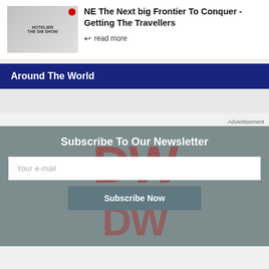[Figure (screenshot): Thumbnail image of 'The GM Show' hotel event with group photos of speakers]
NE The Next big Frontier To Conquer - Getting The Travellers
read more
Around The World
Advertisement
Subscribe To Our Newsletter
Your e-mail
Subscribe Now